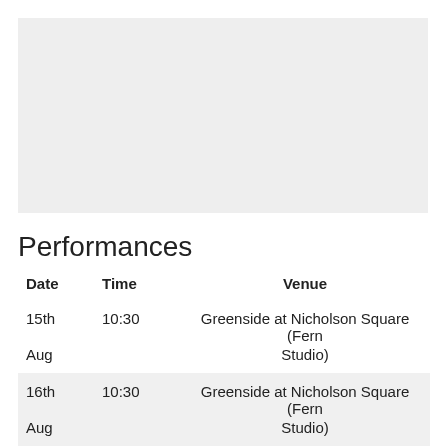[Figure (other): Gray image placeholder rectangle at top of page]
Performances
| Date | Time | Venue |
| --- | --- | --- |
| 15th Aug | 10:30 | Greenside at Nicholson Square (Fern Studio) |
| 16th Aug | 10:30 | Greenside at Nicholson Square (Fern Studio) |